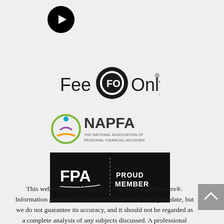[Figure (logo): YouTube icon — black circle with white play button triangle]
[Figure (logo): Fee Only logo — FO letters with circular design and text 'Fee Only®']
[Figure (logo): NAPFA logo — The National Association of Personal Financial Advisors]
[Figure (logo): FPA Proud Member logo — black rectangle with FPA and 'PROUD MEMBER' text]
[Figure (other): Back to top button — gray square with upward chevron arrow]
This website is a publication of Aspyre Wealth Partners®. Information presented is believed to be factual and up-to-date, but we do not guarantee its accuracy, and it should not be regarded as a complete analysis of any subjects discussed. A professional adviser should be consulted